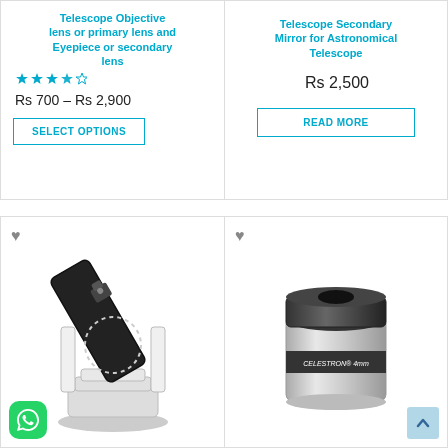Telescope Objective lens or primary lens and Eyepiece or secondary lens
Rs 700 – Rs 2,900
SELECT OPTIONS
Telescope Secondary Mirror for Astronomical Telescope
Rs 2,500
READ MORE
[Figure (photo): Dobsonian telescope on white mount, black tube, with WhatsApp chat icon badge at bottom left]
[Figure (photo): Celestron 4mm eyepiece, cylindrical silver and black, on white background, with scroll-to-top button at bottom right]